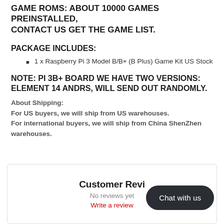GAME ROMS: ABOUT 10000 GAMES PREINSTALLED, CONTACT US GET THE GAME LIST.
PACKAGE INCLUDES:
1 x Raspberry Pi 3 Model B/B+ (B Plus) Game Kit US Stock
NOTE: PI 3B+ BOARD WE HAVE TWO VERSIONS: ELEMENT 14 ANDRS, WILL SEND OUT RANDOMLY.
About Shipping:
For US buyers, we will ship from US warehouses.
For international buyers, we will ship from China ShenZhen warehouses.
Customer Reviews
No reviews yet
Write a review